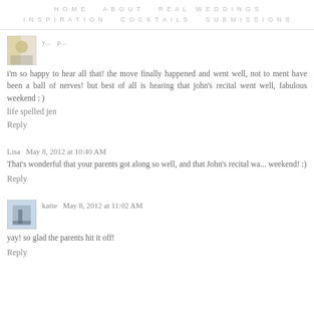HOME   ABOUT   REAL WEDDINGS   INSPIRATION   COCKTAILS   SUBMISSIONS
i'm so happy to hear all that! the move finally happened and went well, not to ment have been a ball of nerves! but best of all is hearing that john's recital went well, fabulous weekend : )
life spelled jen
Reply
Lisa  May 8, 2012 at 10:40 AM
That's wonderful that your parents got along so well, and that John's recital was weekend! :)
Reply
katie  May 8, 2012 at 11:02 AM
yay! so glad the parents hit it off!
Reply